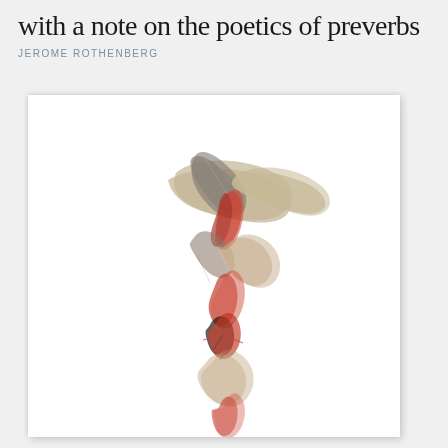with a note on the poetics of preverbs
JEROME ROTHENBERG
[Figure (illustration): Abstract painting on white book cover featuring dynamic brushstrokes in earth tones — beige, tan, brown — and red-orange accents, arranged in a vertical flowing composition suggesting movement or a figure, centered on the cover.]